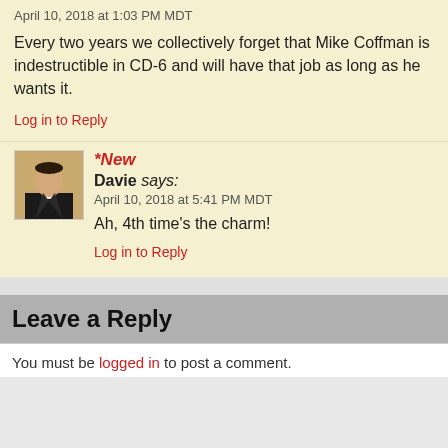April 10, 2018 at 1:03 PM MDT
Every two years we collectively forget that Mike Coffman is indestructible in CD-6 and will have that job as long as he wants it.
Log in to Reply
*New
Davie says:
April 10, 2018 at 5:41 PM MDT
Ah, 4th time's the charm!
Log in to Reply
Leave a Reply
You must be logged in to post a comment.